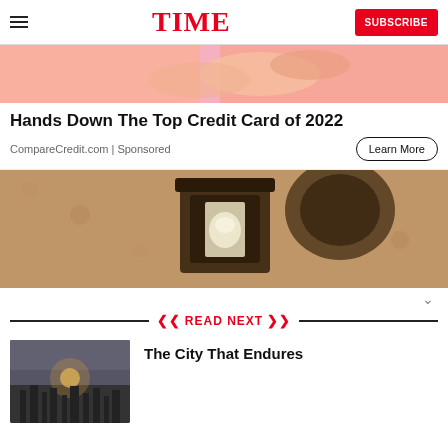TIME | SUBSCRIBE
[Figure (photo): Cropped advertisement image showing hands with pink/orange background]
Hands Down The Top Credit Card of 2022
CompareCredit.com | Sponsored
[Figure (photo): Close-up photo of an outdoor wall lamp with textured stucco background]
READ NEXT
[Figure (photo): Thumbnail photo of a city skyline at dusk]
The City That Endures